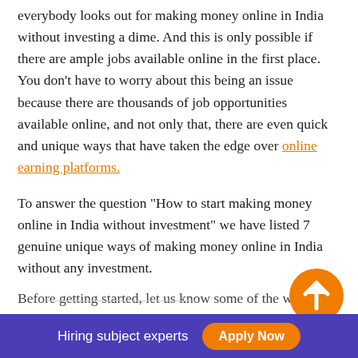everybody looks out for making money online in India without investing a dime. And this is only possible if there are ample jobs available online in the first place. You don't have to worry about this being an issue because there are thousands of job opportunities available online, and not only that, there are even quick and unique ways that have taken the edge over online earning platforms.
To answer the question "How to start making money online in India without investment" we have listed 7 genuine unique ways of making money online in India without any investment.
Before getting started, let us know some of the ways that...
[Figure (other): Orange circular scroll-to-top button with upward arrow icon]
To read more related articles, click here.
Hiring subject experts  Apply Now